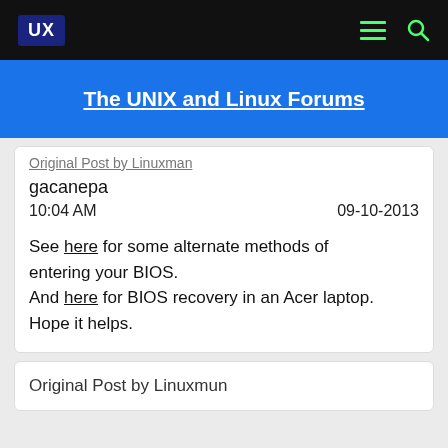UX
The UNIX and Linux Forums
Original Post by Linuxman
gacanepa
10:04 AM   09-10-2013
See here for some alternate methods of entering your BIOS.
And here for BIOS recovery in an Acer laptop.
Hope it helps.
Original Post by Linuxmun